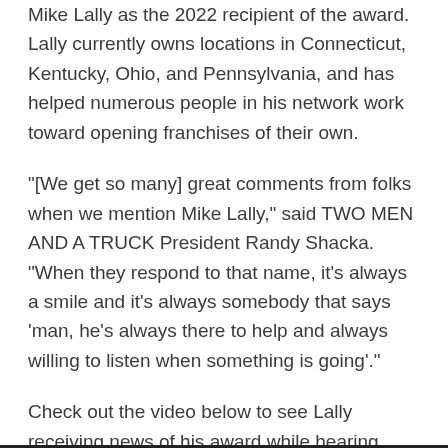Mike Lally as the 2022 recipient of the award. Lally currently owns locations in Connecticut, Kentucky, Ohio, and Pennsylvania, and has helped numerous people in his network work toward opening franchises of their own.
"[We get so many] great comments from folks when we mention Mike Lally," said TWO MEN AND A TRUCK President Randy Shacka. "When they respond to that name, it's always a smile and it's always somebody that says 'man, he's always there to help and always willing to listen when something is going'."
Check out the video below to see Lally receiving news of his award while hearing from a few long-time employees about how he has impacted their careers!